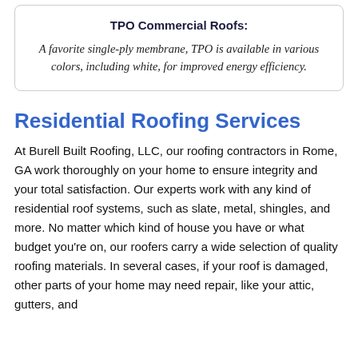TPO Commercial Roofs:
A favorite single-ply membrane, TPO is available in various colors, including white, for improved energy efficiency.
Residential Roofing Services
At Burell Built Roofing, LLC, our roofing contractors in Rome, GA work thoroughly on your home to ensure integrity and your total satisfaction. Our experts work with any kind of residential roof systems, such as slate, metal, shingles, and more. No matter which kind of house you have or what budget you're on, our roofers carry a wide selection of quality roofing materials. In several cases, if your roof is damaged, other parts of your home may need repair, like your attic, gutters, and